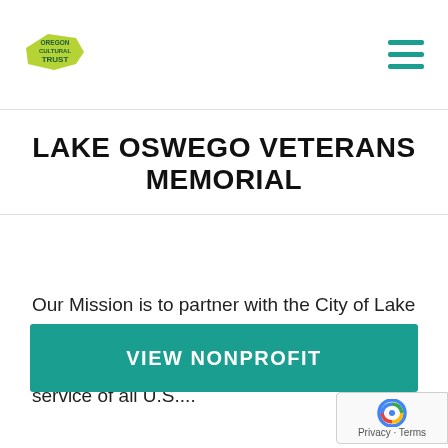Oregon Cultural Trust — navigation header with logo and hamburger menu
LAKE OSWEGO VETERANS MEMORIAL
Our Mission is to partner with the City of Lake Oswego in the creation and development of a memorial for historic preservation of the service of all U.S....
VIEW NONPROFIT